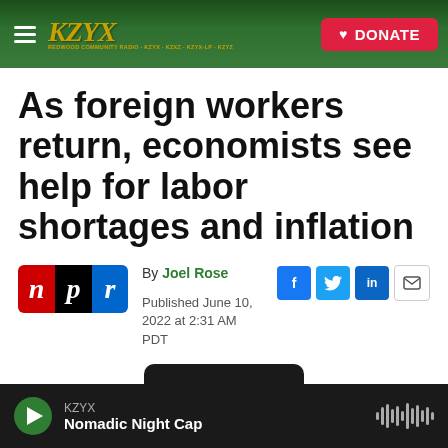KZYX — DONATE
As foreign workers return, economists see help for labor shortages and inflation
By Joel Rose
Published June 10, 2022 at 2:31 AM PDT
KZYX — Nomadic Night Cap